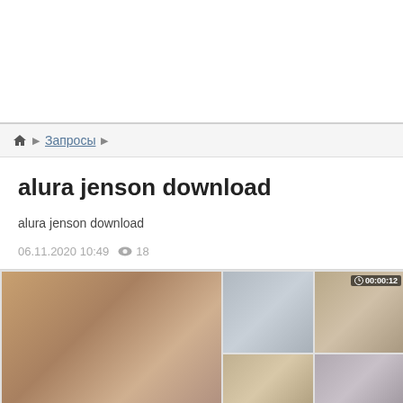[Figure (other): Advertisement banner area, white background]
🏠 ▶ Запросы ▶
alura jenson download
alura jenson download
06.11.2020 10:49   👁 18
[Figure (photo): Grid of video thumbnails showing multiple video preview images. Top-left large thumbnail shows a woman. Top-middle and top-right show additional video previews. Top-right has duration badge showing 00:00:12. Bottom row shows more thumbnails.]